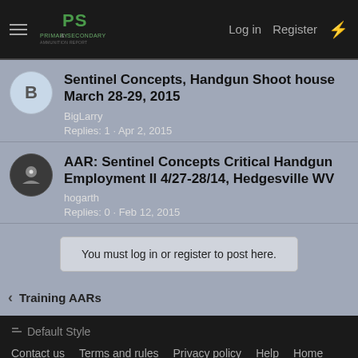PRIMARY & SECONDARY | Log in | Register
Sentinel Concepts, Handgun Shoot house March 28-29, 2015
BigLarry
Replies: 1 · Apr 2, 2015
AAR: Sentinel Concepts Critical Handgun Employment II 4/27-28/14, Hedgesville WV
hogarth
Replies: 0 · Feb 12, 2015
You must log in or register to post here.
Training AARs
Default Style
Contact us · Terms and rules · Privacy policy · Help · Home
Community platform by XenForo® © 2010-2021 XenForo Ltd.